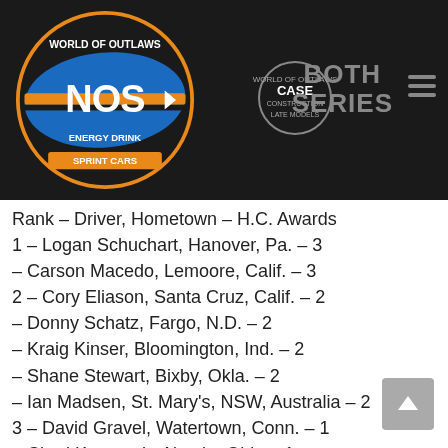[Figure (logo): World of Outlaws NOS Energy Drink Sprint Cars logo with blue and orange design, circular badge on dark background. Also shows World of Outlaws CASE Construction Late Models logo and 'BOTH SERIES' text with hamburger menu icon.]
Rank – Driver, Hometown – H.C. Awards
1 – Logan Schuchart, Hanover, Pa. – 3
– Carson Macedo, Lemoore, Calif. – 3
2 – Cory Eliason, Santa Cruz, Calif. – 2
– Donny Schatz, Fargo, N.D. – 2
– Kraig Kinser, Bloomington, Ind. – 2
– Shane Stewart, Bixby, Okla. – 2
– Ian Madsen, St. Mary's, NSW, Australia – 2
3 – David Gravel, Watertown, Conn. – 1
– Chad Kemenah, Alveda, Ohio – 1
– Aaron Reutzel, Clute, Texas – 1
– Brad Sweet, Grass Valley, Calif. – 1
– Parker Price-Miller, Kokomo, Ind. – 1
– Hunter Schuerenberg, Sikeston, Mo. – 1
– Sammy Swindell, Germantown, Ind. – 1